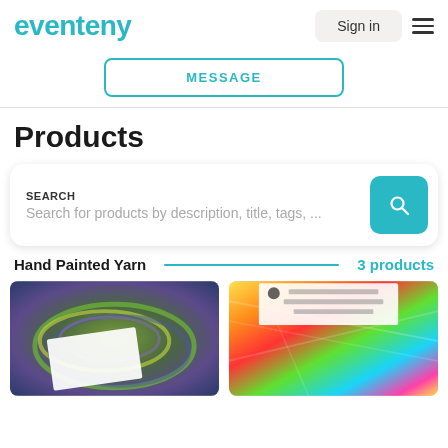eventeny
Sign in
MESSAGE
Products
SEARCH
Search for products by description, title, tags, ...
Hand Painted Yarn  3 products
[Figure (photo): Two product images showing hand painted yarn skeins — left: green/purple/blue colorway with a white label, right: neon multi-color yarn with a white label]
[Figure (photo): Neon multi-color hand painted yarn with white label showing product details]